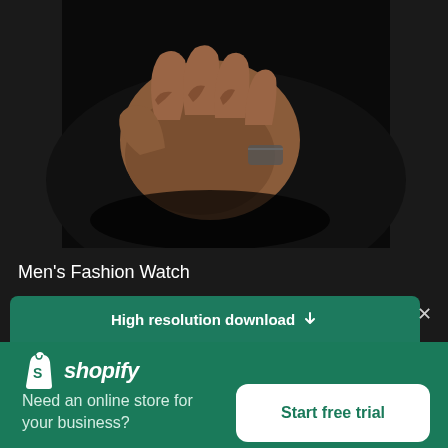[Figure (photo): Close-up of a man's hand wearing a watch, dark clothing in background, dark background]
Men's Fashion Watch
High resolution download ↓
[Figure (logo): Shopify logo: white shopping bag icon with letter S, followed by italic bold white text 'shopify']
Need an online store for your business?
Start free trial